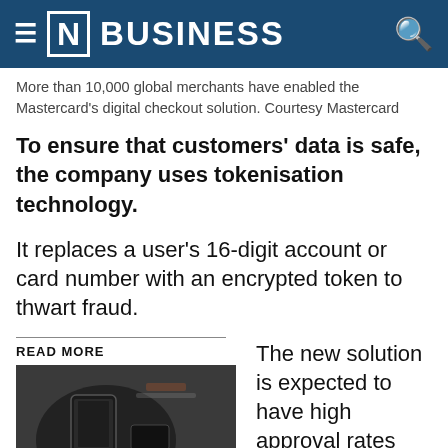[N] BUSINESS
More than 10,000 global merchants have enabled the Mastercard's digital checkout solution. Courtesy Mastercard
To ensure that customers' data is safe, the company uses tokenisation technology.
It replaces a user's 16-digit account or card number with an encrypted token to thwart fraud.
READ MORE
[Figure (photo): Person holding a smartphone over a dark surface with a card reader and credit card visible]
The new solution is expected to have high approval rates and lead to fewer abandoned online